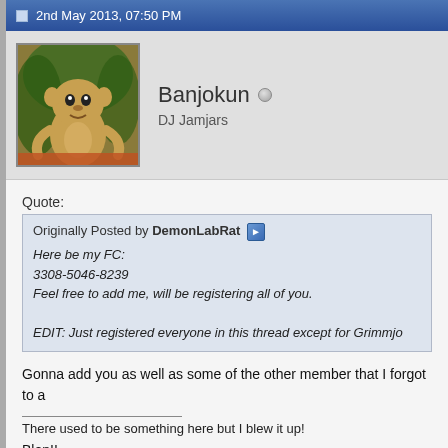2nd May 2013, 07:50 PM
Banjokun
DJ Jamjars
Quote:
Originally Posted by DemonLabRat
Here be my FC:
3308-5046-8239
Feel free to add me, will be registering all of you.
EDIT: Just registered everyone in this thread except for Grimmjo
Gonna add you as well as some of the other member that I forgot to a
There used to be something here but I blew it up!
Blep!!